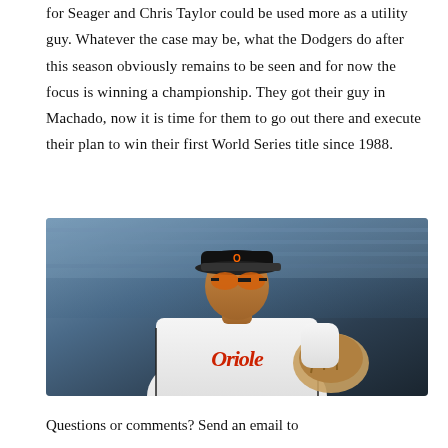for Seager and Chris Taylor could be used more as a utility guy. Whatever the case may be, what the Dodgers do after this season obviously remains to be seen and for now the focus is winning a championship. They got their guy in Machado, now it is time for them to go out there and execute their plan to win their first World Series title since 1988.
[Figure (photo): Baseball player wearing a white Baltimore Orioles jersey and black cap with orange-lensed sunglasses, holding a glove, with a stadium crowd blurred in the background.]
Questions or comments? Send an email to